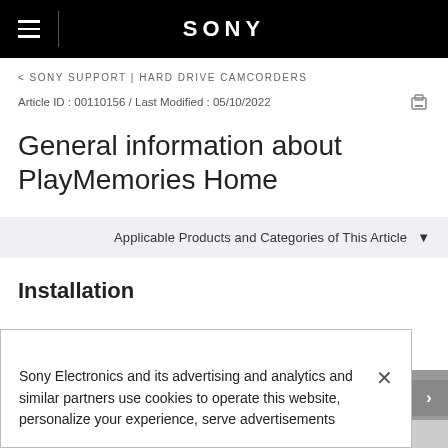SONY
< SONY SUPPORT | HARD DRIVE CAMCORDERS
Article ID : 00110156 / Last Modified : 05/10/2022
General information about PlayMemories Home
Applicable Products and Categories of This Article
Installation
Sony Electronics and its advertising and analytics and similar partners use cookies to operate this website, personalize your experience, serve advertisements